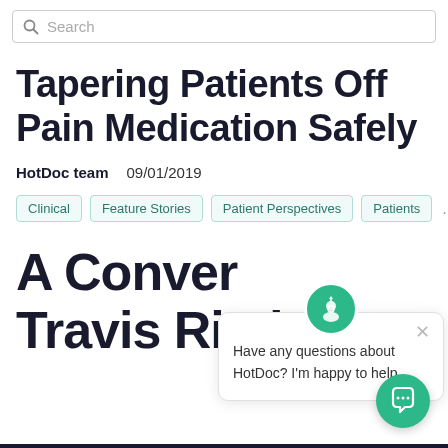Search
Tapering Patients Off Pain Medication Safely
HotDoc team   09/01/2019
Clinical
Feature Stories
Patient Perspectives
Patients
A Conver… Travis Rieder
Have any questions about HotDoc? I'm happy to help.